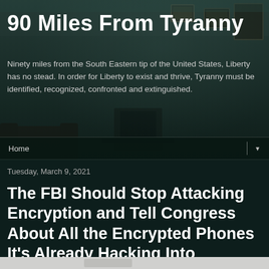90 Miles From Tyranny
Ninety miles from the South Eastern tip of the United States, Liberty has no stead. In order for Liberty to exist and thrive, Tyranny must be identified, recognized, confronted and extinguished.
Home ▼
Tuesday, March 9, 2021
The FBI Should Stop Attacking Encryption and Tell Congress About All the Encrypted Phones It's Already Hacking Into